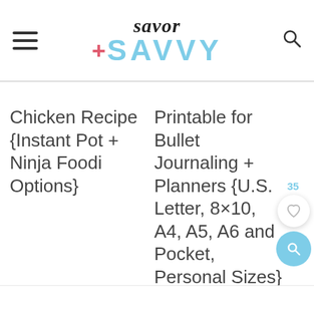[Figure (logo): Savor + SAVVY website logo with hamburger menu and search icon]
Chicken Recipe {Instant Pot + Ninja Foodi Options}
Printable for Bullet Journaling + Planners {U.S. Letter, 8×10, A4, A5, A6 and Pocket, Personal Sizes}